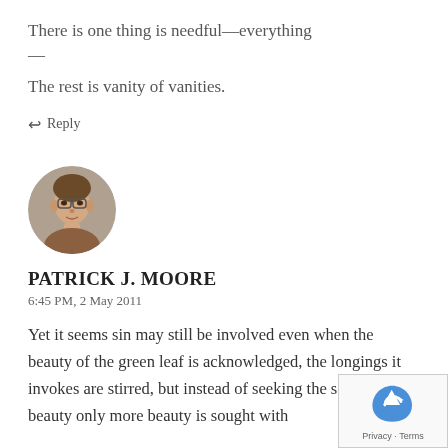There is one thing is needful—everything —
The rest is vanity of vanities.
↩ Reply
[Figure (photo): Circular avatar photo of a middle-aged man with glasses and brown hair]
PATRICK J. MOORE
6:45 PM, 2 May 2011
Yet it seems sin may still be involved even when the beauty of the green leaf is acknowledged, the longings it invokes are stirred, but instead of seeking the source of beauty only more beauty is sought with